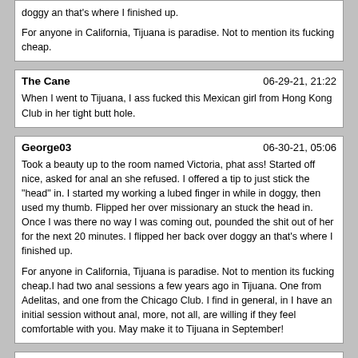doggy an that's where I finished up.

For anyone in California, Tijuana is paradise. Not to mention its fucking cheap.
The Cane
06-29-21, 21:22
When I went to Tijuana, I ass fucked this Mexican girl from Hong Kong Club in her tight butt hole.
George03
06-30-21, 05:06
Took a beauty up to the room named Victoria, phat ass! Started off nice, asked for anal an she refused. I offered a tip to just stick the "head" in. I started my working a lubed finger in while in doggy, then used my thumb. Flipped her over missionary an stuck the head in. Once I was there no way I was coming out, pounded the shit out of her for the next 20 minutes. I flipped her back over doggy an that's where I finished up.

For anyone in California, Tijuana is paradise. Not to mention its fucking cheap.I had two anal sessions a few years ago in Tijuana. One from Adelitas, and one from the Chicago Club. I find in general, in I have an initial session without anal, more, not all, are willing if they feel comfortable with you. May make it to Tijuana in September!
Galenmarek
07-08-21, 18:09
It was September 2006 and I had only two days left on my trip to Rio. I was walking to help and passed T / A and I saw an older negra (she was in her mid 40's I found out later on) pouring a beer. "Hello" she said in a voice kinda like Demi Moore. I said Hi back and kept it moving towards help, but after a few minutes of taking to the other girls, I decided to talk to the older woman at TA. Fortunately she was still by herself and invited me to sit with her. Now I keep it real, she wasn't that attractive of a woman. I seen the acne marks on her face and shoulders, and she just wasn't cute. But there was something about her demeanor that held my interest. She introduced herself as Cinele from...